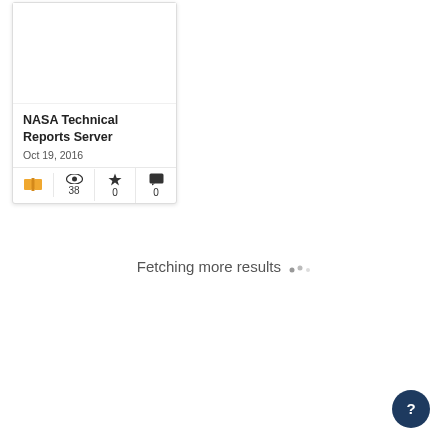[Figure (screenshot): Card for NASA Technical Reports Server showing book icon, title, date Oct 19 2016, and stats: 38 views, 0 stars, 0 comments]
NASA Technical Reports Server
Oct 19, 2016
Fetching more results …
[Figure (other): Help button - circular dark blue button with question mark icon]